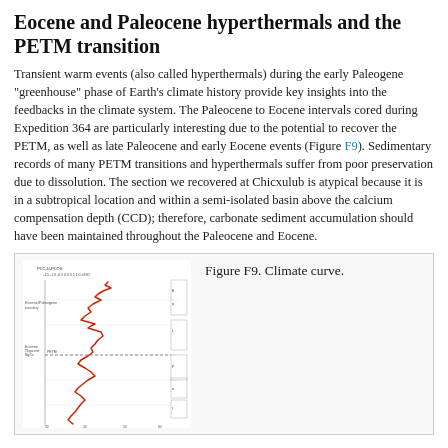Eocene and Paleocene hyperthermals and the PETM transition
Transient warm events (also called hyperthermals) during the early Paleogene “greenhouse” phase of Earth’s climate history provide key insights into the feedbacks in the climate system. The Paleocene to Eocene intervals cored during Expedition 364 are particularly interesting due to the potential to recover the PETM, as well as late Paleocene and early Eocene events (Figure F9). Sedimentary records of many PETM transitions and hyperthermals suffer from poor preservation due to dissolution. The section we recovered at Chicxulub is atypical because it is in a subtropical location and within a semi-isolated basin above the calcium compensation depth (CCD); therefore, carbonate sediment accumulation should have been maintained throughout the Paleocene and Eocene.
[Figure (continuous-plot): Climate curve showing benthic isotope (d18O) data plotted against depth, with red squiggly line representing measurements across Paleocene and Eocene intervals, with PETM marker indicated.]
Figure F9. Climate curve.